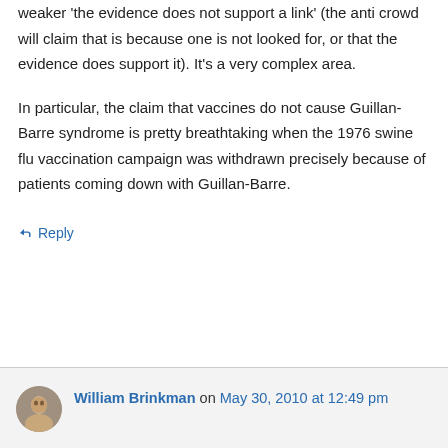weaker 'the evidence does not support a link' (the anti crowd will claim that is because one is not looked for, or that the evidence does support it). It's a very complex area.

In particular, the claim that vaccines do not cause Guillan-Barre syndrome is pretty breathtaking when the 1976 swine flu vaccination campaign was withdrawn precisely because of patients coming down with Guillan-Barre.
↳ Reply
William Brinkman on May 30, 2010 at 12:49 pm